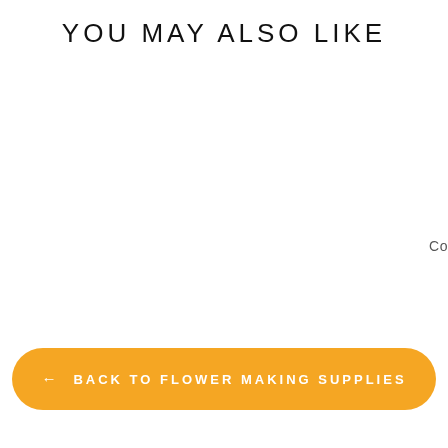YOU MAY ALSO LIKE
Co
← BACK TO FLOWER MAKING SUPPLIES